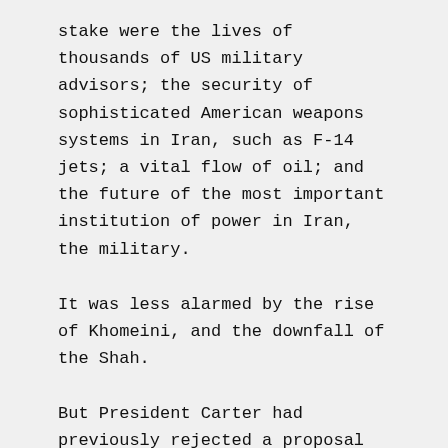stake were the lives of thousands of US military advisors; the security of sophisticated American weapons systems in Iran, such as F-14 jets; a vital flow of oil; and the future of the most important institution of power in Iran, the military.
It was less alarmed by the rise of Khomeini, and the downfall of the Shah.
But President Carter had previously rejected a proposal to cut a deal between Khomeini and the military.
On 9 November 1978, in a now-famous cable, “Thinking the Unthinkable,” the US ambassador to Iran, William Sullivan, warned that the Shah was doomed. He argued